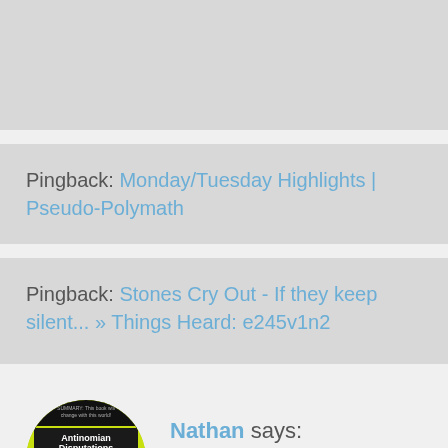Pingback: Monday/Tuesday Highlights | Pseudo-Polymath
Pingback: Stones Cry Out - If they keep silent... » Things Heard: e245v1n2
Nathan says:
November 6, 2012 at 9:40 am
[Figure (illustration): Circular avatar image showing a parody book cover titled 'Antinomian Disputations for DUMMIES' with yellow and black design, featuring a cartoon character and text 'Reference for the Rest of Us!']